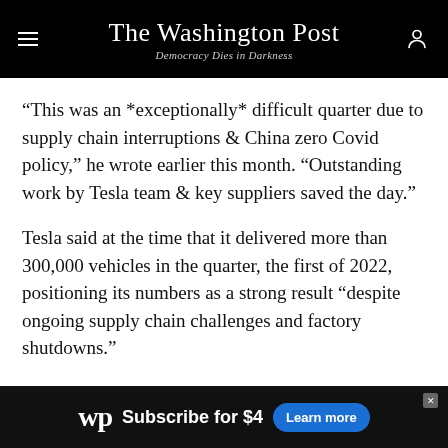The Washington Post — Democracy Dies in Darkness
“This was an *exceptionally* difficult quarter due to supply chain interruptions & China zero Covid policy,” he wrote earlier this month. “Outstanding work by Tesla team & key suppliers saved the day.”
Tesla said at the time that it delivered more than 300,000 vehicles in the quarter, the first of 2022, positioning its numbers as a strong result “despite ongoing supply chain challenges and factory shutdowns.”
Tesla reported a $3.3 billion profit for the first quarter.
[Figure (other): Washington Post subscription advertisement banner: WP logo, 'Subscribe for $4', 'Learn more' button]